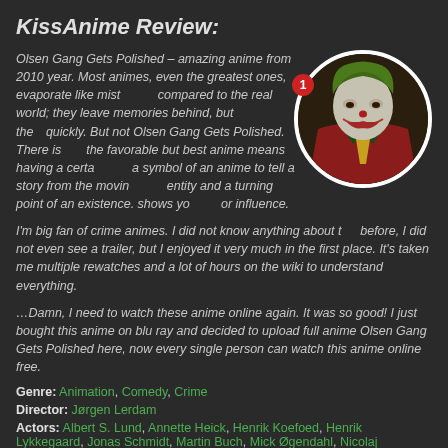KissAnime Review:
Olsen Gang Gets Polished – amazing anime from 2010 year. Most animes, even the greatest ones, evaporate like mist compared to the real world; they leave memories behind, but they fade quickly. But not Olsen Gang Gets Polished. There is the favorable but best anime means having a certain symbol of an anime to tell a story from the moving entity and a turning point of an existence. shows yo or influence.
[Figure (photo): Circular portrait photo of the Joker character in red suit with white face paint and green hair, from the 2019 Joker film]
I'm big fan of crime animes. I did not know anything about this before, I did not even see a trailer, but I enjoyed it very much in the first place. It's taken me multiple rewatches and a lot of hours on the wiki to understand everything.
…Damn, I need to watch these anime online again. It was so good! I just bought this anime on blu ray and decided to upload full anime Olsen Gang Gets Polished here, now every single person can watch this anime online free.
Genre: Animation, Comedy, Crime
Director: Jørgen Lerdam
Actors: Albert S. Lund, Annette Heick, Henrik Koefoed, Henrik Lykkegaard, Jonas Schmidt, Martin Buch, Mick Øgendahl, Nicolaj Kopernikus, Simon Jul Jørgensen, Søren Sætter-Lassen
Country: Denmark